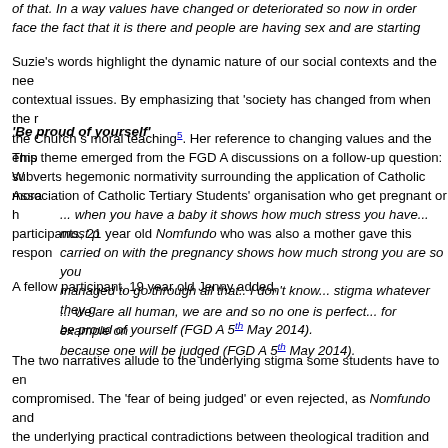of that. In a way values have changed or deteriorated so now in order to face the fact that it is there and people are having sex and are starting...
Suzie's words highlight the dynamic nature of our social contexts and the need to address contextual issues. By emphasizing that 'society has changed from when the rules were made', the Church s moral teaching⁵. Her reference to changing values and the emphasis subverts hegemonic normativity surrounding the application of Catholic moral...
'Be proud of yourself'
This theme emerged from the FGD A discussions on a follow-up question: What happens to Association of Catholic Tertiary Students' organisation who get pregnant or h... participants, 21 year old Nomfundo who was also a mother gave this response...
... when you have a baby it shows how much stress you have... most p... carried on with the pregnancy shows how much strong you are so you... managed to go through all that.. I don't know... stigma whatever they g... be proud of yourself (FGD A 5th May 2014).
A fellow participant, 19 year old Jenny added,
... we are all human, we are and so no one is perfect... for example on... because one will be judged (FGD A 5th May 2014).
The two narratives allude to the underlying stigma some students have to en... compromised. The 'fear of being judged' or even rejected, as Nomfundo and... the underlying practical contradictions between theological tradition and past... The enforcement of the former has led to criticism of the Church for reinforcin... Kelly 2006) although some Catholic theologians (see Bate 2003) may differ. R... reflected in Nomfudo's words, when you have a baby it shows how much stre...